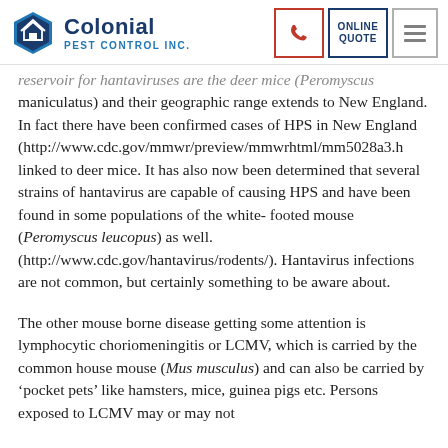Colonial Pest Control Inc.
reservoir for hantaviruses are the deer mice (Peromyscus maniculatus) and their geographic range extends to New England. In fact there have been confirmed cases of HPS in New England (http://www.cdc.gov/mmwr/preview/mmwrhtml/mm5028a3.h linked to deer mice. It has also now been determined that several strains of hantavirus are capable of causing HPS and have been found in some populations of the white-footed mouse (Peromyscus leucopus) as well. (http://www.cdc.gov/hantavirus/rodents/). Hantavirus infections are not common, but certainly something to be aware about.
The other mouse borne disease getting some attention is lymphocytic choriomeningitis or LCMV, which is carried by the common house mouse (Mus musculus) and can also be carried by ‘pocket pets’ like hamsters, mice, guinea pigs etc. Persons exposed to LCMV may or may not